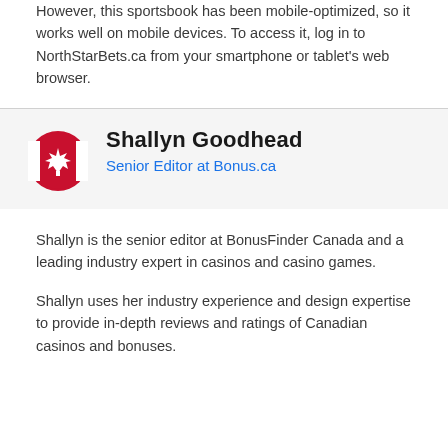However, this sportsbook has been mobile-optimized, so it works well on mobile devices. To access it, log in to NorthStarBets.ca from your smartphone or tablet's web browser.
[Figure (illustration): Canadian flag circle icon (red circle with maple leaf)]
Shallyn Goodhead
Senior Editor at Bonus.ca
Shallyn is the senior editor at BonusFinder Canada and a leading industry expert in casinos and casino games.
Shallyn uses her industry experience and design expertise to provide in-depth reviews and ratings of Canadian casinos and bonuses.